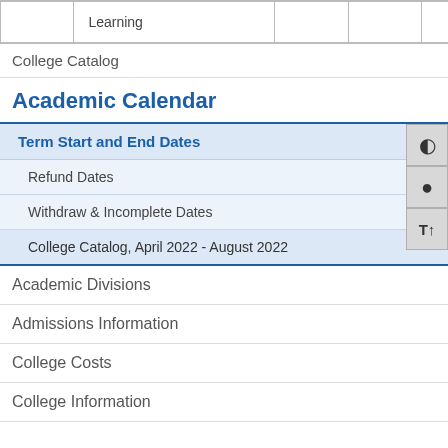|  | Learning |  |  |
College Catalog
Academic Calendar
Term Start and End Dates
Refund Dates
Withdraw & Incomplete Dates
College Catalog, April 2022 - August 2022
Academic Divisions
Admissions Information
College Costs
College Information